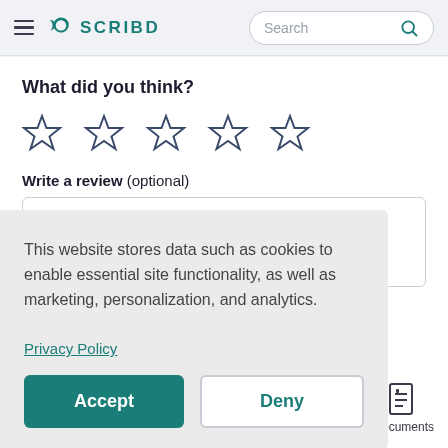≡  S SCRIBD   [Search]
What did you think?
[Figure (illustration): Five empty star rating icons in a row]
Write a review (optional)
This website stores data such as cookies to enable essential site functionality, as well as marketing, personalization, and analytics.
Privacy Policy
Accept
Deny
Documents